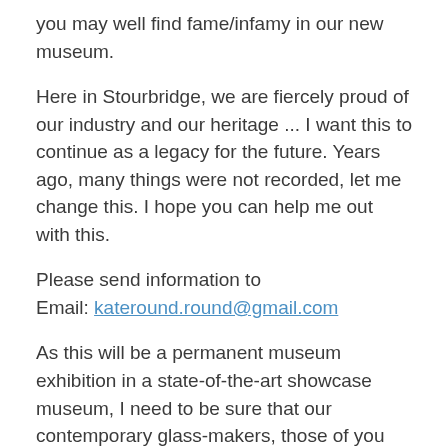you may well find fame/infamy in our new museum.
Here in Stourbridge, we are fiercely proud of our industry and our heritage ... I want this to continue as a legacy for the future. Years ago, many things were not recorded, let me change this. I hope you can help me out with this.
Please send information to
Email: kateround.round@gmail.com
As this will be a permanent museum exhibition in a state-of-the-art showcase museum, I need to be sure that our contemporary glass-makers, those of you pushing the boundaries of talent skills, artistry and glass technology are fully represented.